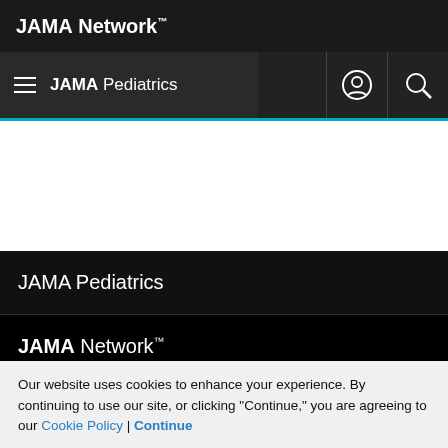JAMA Network™
JAMA Pediatrics
JAMA Pediatrics
JAMA Network™
Help
Our website uses cookies to enhance your experience. By continuing to use our site, or clicking "Continue," you are agreeing to our Cookie Policy | Continue